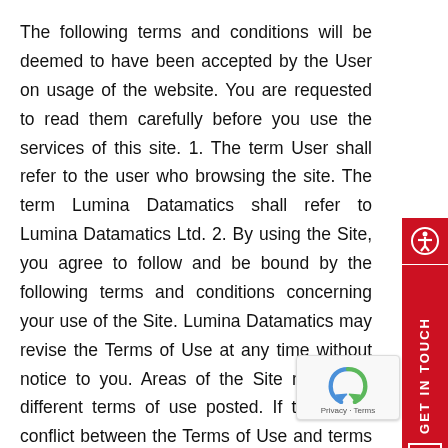The following terms and conditions will be deemed to have been accepted by the User on usage of the website. You are requested to read them carefully before you use the services of this site. 1. The term User shall refer to the user who browsing the site. The term Lumina Datamatics shall refer to Lumina Datamatics Ltd. 2. By using the Site, you agree to follow and be bound by the following terms and conditions concerning your use of the Site. Lumina Datamatics may revise the Terms of Use at any time without notice to you. Areas of the Site may have different terms of use posted. If there is a conflict between the Terms of Use and terms of use posted for a specific area of the Site, latter i.e. the terms of use for a specific area of the Site shall have precedence with respect to
[Figure (other): Red accessibility icon widget on right sidebar]
[Figure (other): Red GET IN TOUCH vertical sidebar widget with email icon]
[Figure (other): Google reCAPTCHA badge with logo and Privacy - Terms text]